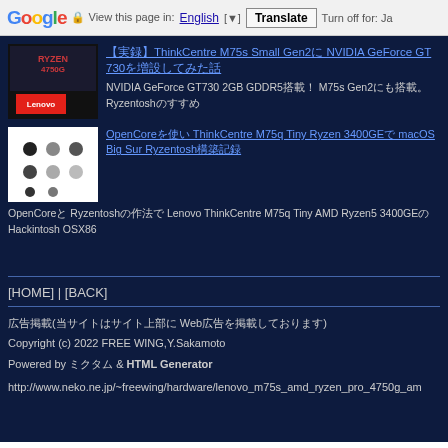Google  View this page in: English [▼]  Translate  Turn off for: Ja
【実録】ThinkCentre M75s Small Gen2に NVIDIA GeForce GT 730を増設してみた話 NVIDIA GeForce GT730 2GB GDDR5搭載！ M75s Gen2にも搭載。Ryzentoshのすすめ
OpenCoreを使い ThinkCentre M75q Tiny Ryzen 3400GEで macOS Big Sur Ryzentosh構築記録 OpenCoreと Ryzentoshの作法で Lenovo ThinkCentre M75q Tiny AMD Ryzen5 3400GEの Hackintosh OSX86
[HOME] | [BACK]
広告掲載(当サイトはサイト上部に Web広告を掲載しております)
Copyright (c) 2022 FREE WING,Y.Sakamoto
Powered by ミクタム & HTML Generator
http://www.neko.ne.jp/~freewing/hardware/lenovo_m75s_amd_ryzen_pro_4750g_am